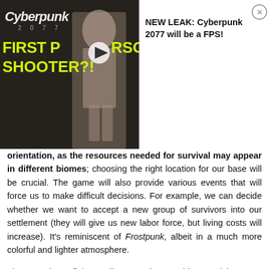[Figure (screenshot): Advertisement banner for Cyberpunk 2077 'First Person Shooter?!' video thumbnail on the left (dark background with yellow text and a woman in silver outfit), and text on the right side reading 'NEW LEAK: Cyberpunk 2077 will be a FPS!' with a close button.]
orientation, as the resources needed for survival may appear in different biomes; choosing the right location for our base will be crucial. The game will also provide various events that will force us to make difficult decisions. For example, we can decide whether we want to accept a new group of survivors into our settlement (they will give us new labor force, but living costs will increase). It's reminiscent of Frostpunk, albeit in a much more colorful and lighter atmosphere.
The game by Iceflake Studios strongly resembles Surviving Mars, but it is worth noting that the predecessor was created by another studio (Haemimont Games). Both games are published by Paradox Interactive – a company famous for the quality of their strategy games, which often go down in history as milestones of the genre.